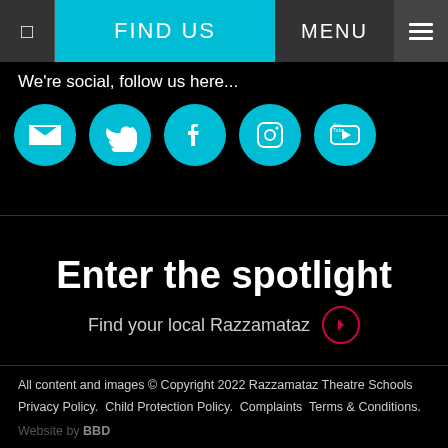FIND US  MENU
We're social, follow us here...
[Figure (infographic): Five cyan circular social media icons: Email, Twitter, Facebook, Instagram, YouTube]
Enter the spotlight
Find your local Razzamataz ▶
All content and images © Copyright 2022 Razzamataz Theatre Schools
Privacy Policy.  Child Protection Policy.  Complaints  Terms & Conditions.
Website by BBD